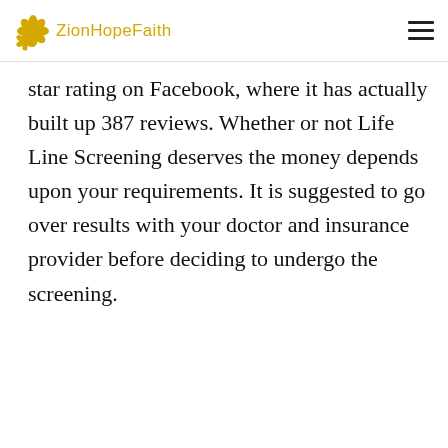ZionHopeFaith
star rating on Facebook, where it has actually built up 387 reviews. Whether or not Life Line Screening deserves the money depends upon your requirements. It is suggested to go over results with your doctor and insurance provider before deciding to undergo the screening.